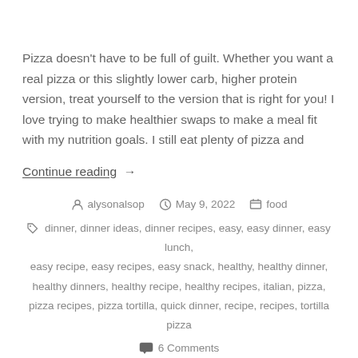Pizza doesn't have to be full of guilt. Whether you want a real pizza or this slightly lower carb, higher protein version, treat yourself to the version that is right for you! I love trying to make healthier swaps to make a meal fit with my nutrition goals. I still eat plenty of pizza and
Continue reading →
alysonalsop  May 9, 2022  food
dinner, dinner ideas, dinner recipes, easy, easy dinner, easy lunch, easy recipe, easy recipes, easy snack, healthy, healthy dinner, healthy dinners, healthy recipe, healthy recipes, italian, pizza, pizza recipes, pizza tortilla, quick dinner, recipe, recipes, tortilla pizza
6 Comments